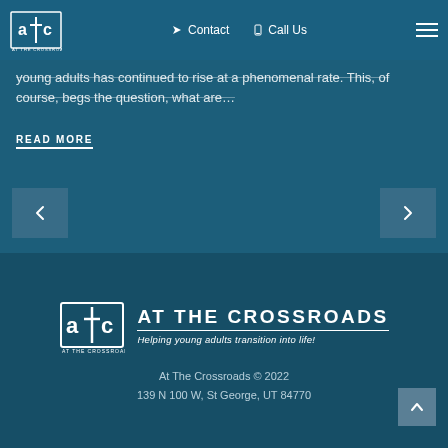[Figure (logo): ATC At The Crossroads logo in navigation bar]
Contact
Call Us
young adults has continued to rise at a phenomenal rate. This, of course, begs the question, what are…
READ MORE
[Figure (other): Previous arrow navigation button]
[Figure (other): Next arrow navigation button]
[Figure (logo): ATC At The Crossroads footer logo with tagline: Helping young adults transition into life!]
At The Crossroads © 2022
139 N 100 W, St George, UT 84770